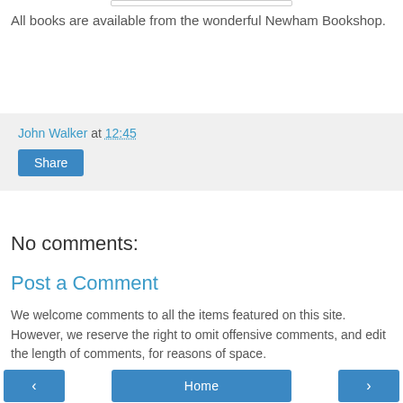All books are available from the wonderful Newham Bookshop.
John Walker at 12:45  Share
No comments:
Post a Comment
We welcome comments to all the items featured on this site. However, we reserve the right to omit offensive comments, and edit the length of comments, for reasons of space.
< Home >